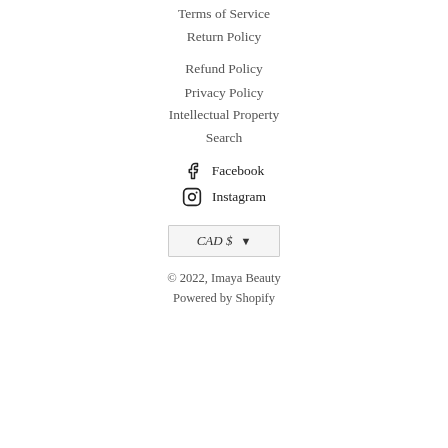Terms of Service
Return Policy
Refund Policy
Privacy Policy
Intellectual Property
Search
Facebook
Instagram
CAD $
© 2022, Imaya Beauty
Powered by Shopify